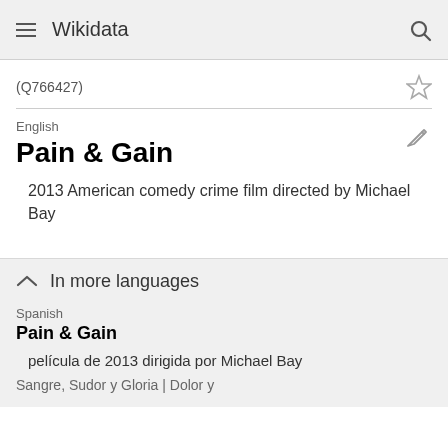Wikidata
(Q766427)
English
Pain & Gain
2013 American comedy crime film directed by Michael Bay
In more languages
Spanish
Pain & Gain
película de 2013 dirigida por Michael Bay
Sangre, Sudor y Gloria | Dolor y